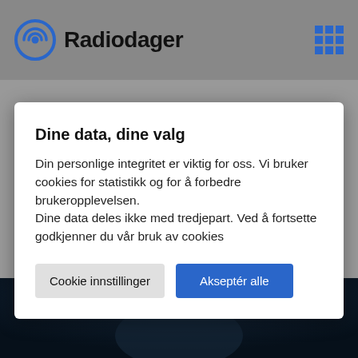Radiodager
Dine data, dine valg
Din personlige integritet er viktig for oss. Vi bruker cookies for statistikk og for å forbedre brukeropplevelsen.
Dine data deles ikke med tredjepart. Ved å fortsette godkjenner du vår bruk av cookies
Cookie innstillinger  |  Akseptér alle
[Figure (photo): Dark photo of a person, dimly lit, dark blue tones, partially visible head/face]